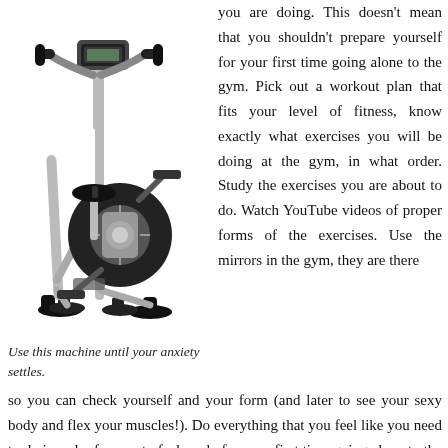[Figure (photo): A stationary exercise bike (upright bike) with black frame, handlebars, seat, pedals, and a display console, on a white background.]
Use this machine until your anxiety settles.
you are doing. This doesn't mean that you shouldn't prepare yourself for your first time going alone to the gym. Pick out a workout plan that fits your level of fitness, know exactly what exercises you will be doing at the gym, in what order. Study the exercises you are about to do. Watch YouTube videos of proper forms of the exercises. Use the mirrors in the gym, they are there so you can check yourself and your form (and later to see your sexy body and flex your muscles!). Do everything that you feel like you need to do in order for you to feel ready for your first time going alone to the gym. Then just